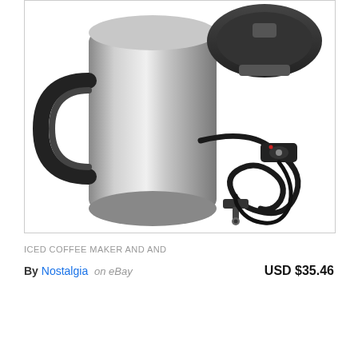[Figure (photo): Product photo of a stainless steel travel mug/heated cup with black handle and a black car charger/DC power cord with cigarette lighter adapter plug, shown on white background.]
ICED COFFEE MAKER AND AND
By Nostalgia on eBay   USD $35.46